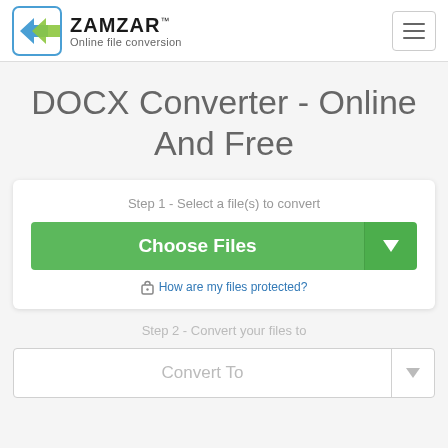[Figure (logo): Zamzar logo with blue and green arrows icon and text 'ZAMZAR Online file conversion']
DOCX Converter - Online And Free
Step 1 - Select a file(s) to convert
Choose Files
How are my files protected?
Step 2 - Convert your files to
Convert To